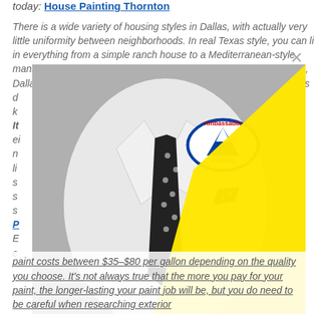today: House Painting Thornton
There is a wide variety of housing styles in Dallas, with actually very little uniformity between neighborhoods. In real Texas style, you can live in everything from a simple ranch house to a Mediterranean-style mansion to a high-rise building in different parts of town. Meanwhile, Dallas is a sprawling city that's growing bigger every year, which has d... k... It... ei... n... li... s... s... s... P... E... c...
[Figure (photo): A person in a white dress shirt and black polka-dot tie with pocket square. Ambassador Painting logo visible on the shirt. A large yellow triangle overlaid on the right side of the image.]
paint costs between $35–$80 per gallon depending on the quality you choose. It's not always true that the more you pay for your paint, the longer-lasting your paint job will be, but you do need to be careful when researching exterior